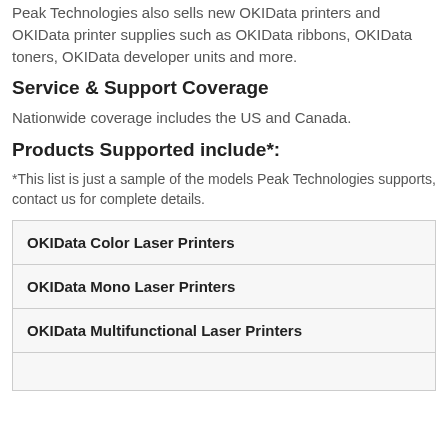Peak Technologies also sells new OKIData printers and OKIData printer supplies such as OKIData ribbons, OKIData toners, OKIData developer units and more.
Service & Support Coverage
Nationwide coverage includes the US and Canada.
Products Supported include*:
*This list is just a sample of the models Peak Technologies supports, contact us for complete details.
| OKIData Color Laser Printers |
| OKIData Mono Laser Printers |
| OKIData Multifunctional Laser Printers |